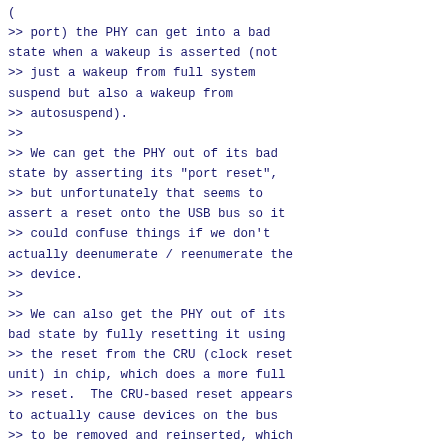(
>> port) the PHY can get into a bad
state when a wakeup is asserted (not
>> just a wakeup from full system
suspend but also a wakeup from
>> autosuspend).
>>
>> We can get the PHY out of its bad
state by asserting its "port reset",
>> but unfortunately that seems to
assert a reset onto the USB bus so it
>> could confuse things if we don't
actually deenumerate / reenumerate the
>> device.
>>
>> We can also get the PHY out of its
bad state by fully resetting it using
>> the reset from the CRU (clock reset
unit) in chip, which does a more full
>> reset.  The CRU-based reset appears
to actually cause devices on the bus
>> to be removed and reinserted, which
fixes the problem (albeit in a hacky
>> way).
>>
>> It's unfortunate that we need to do
a full re-enumeration of devices at
>> wakeup time, but this is better than
alternative of letting the bus get
>> wedged.
>>